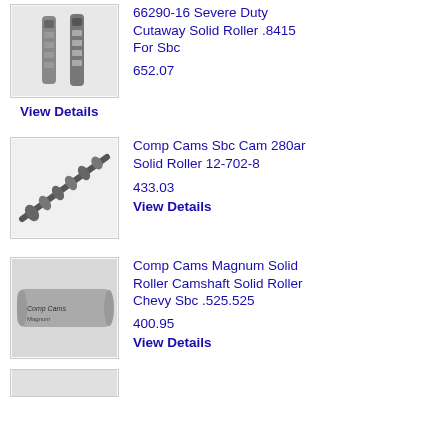[Figure (photo): Photo of severe duty cutaway solid roller lifters for SBC]
66290-16 Severe Duty Cutaway Solid Roller .8415 For Sbc
652.07
View Details
[Figure (photo): Photo of a camshaft - Comp Cams Sbc Cam 280ar Solid Roller]
Comp Cams Sbc Cam 280ar Solid Roller 12-702-8
433.03
View Details
[Figure (photo): Photo of Comp Cams Magnum Solid Roller Camshaft for Chevy SBC]
Comp Cams Magnum Solid Roller Camshaft Solid Roller Chevy Sbc .525.525
400.95
View Details
[Figure (photo): Partial photo of another product at the bottom of the page]